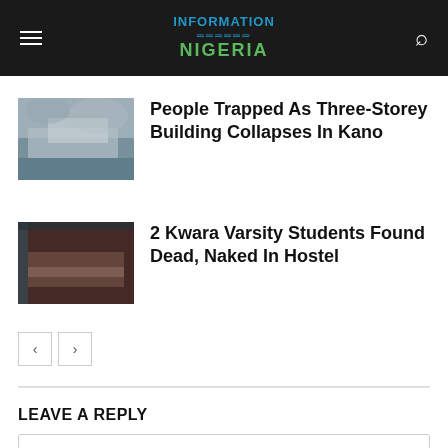Information Nigeria
People Trapped As Three-Storey Building Collapses In Kano
[Figure (photo): Collapsed building scene with debris and people gathered, cloudy sky]
2 Kwara Varsity Students Found Dead, Naked In Hostel
[Figure (photo): Dark interior scene, person lying down]
LEAVE A REPLY
Comment: